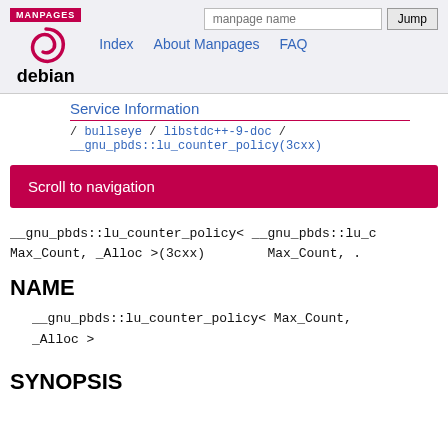MANPAGES | Index | About Manpages | FAQ
debian
Service Information
/ bullseye / libstdc++-9-doc / __gnu_pbds::lu_counter_policy(3cxx)
Scroll to navigation
__gnu_pbds::lu_counter_policy< __gnu_pbds::lu_c
Max_Count, _Alloc >(3cxx)        Max_Count, .
NAME
__gnu_pbds::lu_counter_policy< Max_Count,
_Alloc >
SYNOPSIS